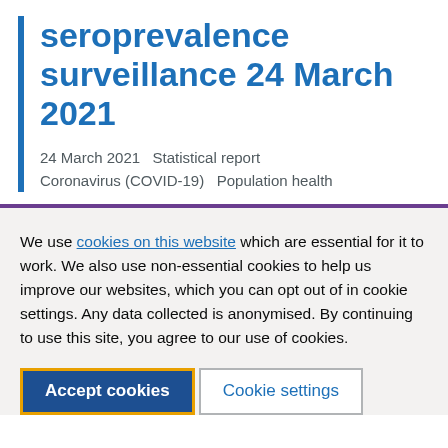seroprevalence surveillance 24 March 2021
24 March 2021   Statistical report   Coronavirus (COVID-19)   Population health
We use cookies on this website which are essential for it to work. We also use non-essential cookies to help us improve our websites, which you can opt out of in cookie settings. Any data collected is anonymised. By continuing to use this site, you agree to our use of cookies.